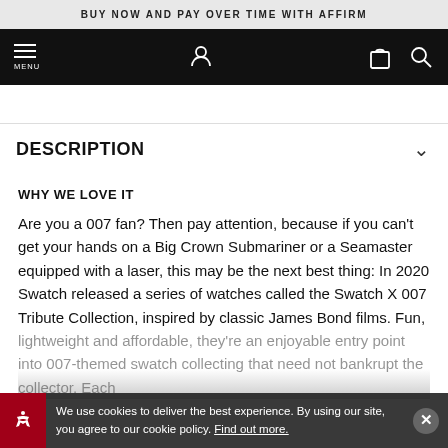BUY NOW AND PAY OVER TIME WITH AFFIRM
[Figure (screenshot): Navigation bar with hamburger menu icon labeled MENU, location pin icon, shopping bag icon, and search icon on black background]
DESCRIPTION
WHY WE LOVE IT
Are you a 007 fan? Then pay attention, because if you can't get your hands on a Big Crown Submariner or a Seamaster equipped with a laser, this may be the next best thing: In 2020 Swatch released a series of watches called the Swatch X 007 Tribute Collection, inspired by classic James Bond films. Fun, lightweight and affordable, they're an enjoyable entry point into 007-themed swatch collecting that need not bankrupt the collector. Each
We use cookies to deliver the best experience. By using our site, you agree to our cookie policy. Find out more.